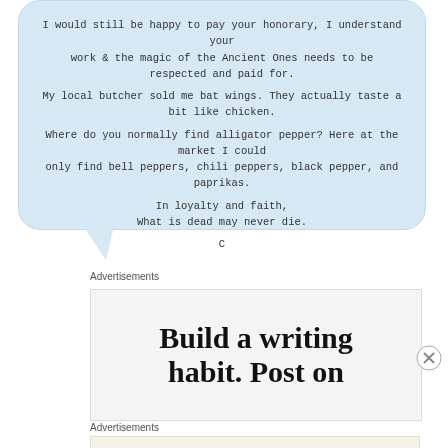I would still be happy to pay your honorary, I understand your work & the magic of the Ancient Ones needs to be respected and paid for.

My local butcher sold me bat wings. They actually taste a bit like chicken.

Where do you normally find alligator pepper? Here at the market I could only find bell peppers, chili peppers, black pepper, and paprikas.

In loyalty and faith,
What is dead may never die.

C
Advertisements
[Figure (other): Advertisement banner with text 'Build a writing habit. Post on']
Advertisements
[Figure (other): WordPress advertisement: 'Professionally designed sites in less than a week' with WordPress logo]